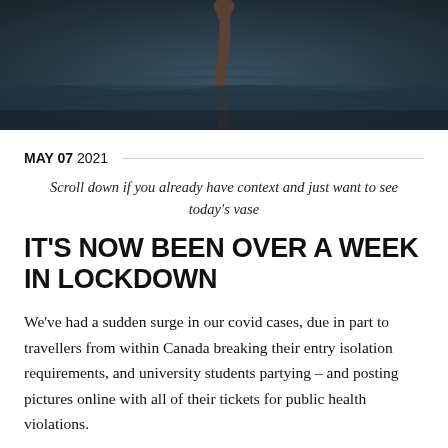[Figure (photo): Dark dramatic photograph of a hand/arm reaching up out of water, with dark blue-grey ocean waves visible.]
MAY 07 2021
Scroll down if you already have context and just want to see today's vase
IT'S NOW BEEN OVER A WEEK IN LOCKDOWN
We've had a sudden surge in our covid cases, due in part to travellers from within Canada breaking their entry isolation requirements, and university students partying – and posting pictures online with all of their tickets for public health violations.